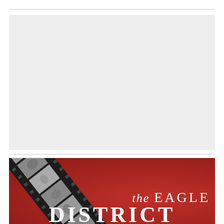[Figure (photo): Large rectangular image placeholder (light gray) occupying the upper portion of the page, representing a photo or illustration.]
[Figure (illustration): Book cover image on a red background. A diagonal film strip runs from lower-left to upper-right with black-and-white film stills visible. Text reads 'the EAGLE' in white serif italic/uppercase font, and the word 'DISTRICT' (partially cut off) in large bold white capitals at the bottom.]